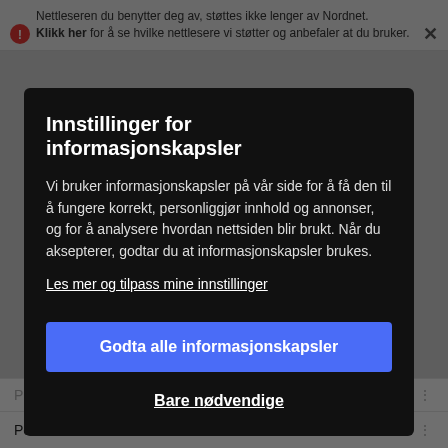Nettleseren du benytter deg av, støttes ikke lenger av Nordnet. Klikk her for å se hvilke nettlesere vi støtter og anbefaler at du bruker.
Innstillinger for informasjonskapsler
Vi bruker informasjonskapsler på vår side for å få den til å fungere korrekt, personliggjør innhold og annonser, og for å analysere hvordan nettsiden blir brukt. Når du aksepterer, godtar du at informasjonskapsler brukes.
Les mer og tilpass mine innstillinger
Godta alle informasjonskapsler
Bare nødvendige
|  | NOK | PCIB |
| --- | --- | --- |
| PCF Biotech Holding | NOK | PCIB |
| PetroNor E&P Limited | NOK | PNOR |